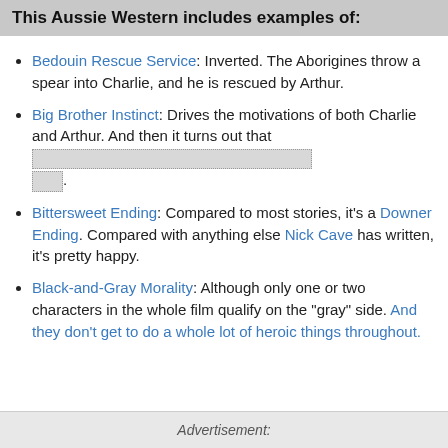This Aussie Western includes examples of:
Bedouin Rescue Service: Inverted. The Aborigines throw a spear into Charlie, and he is rescued by Arthur.
Big Brother Instinct: Drives the motivations of both Charlie and Arthur. And then it turns out that [spoiler].
Bittersweet Ending: Compared to most stories, it's a Downer Ending. Compared with anything else Nick Cave has written, it's pretty happy.
Black-and-Gray Morality: Although only one or two characters in the whole film qualify on the "gray" side. And they don't get to do a whole lot of heroic things throughout.
Advertisement: